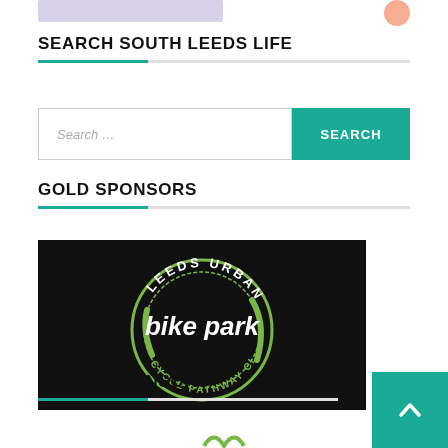[Figure (illustration): Partial page top strip with a purple/lavender rectangle on the left and a small peach/salmon circle on the right]
SEARCH SOUTH LEEDS LIFE
[Figure (screenshot): Search bar with placeholder text 'Search ...' and a teal SEARCH button]
GOLD SPONSORS
[Figure (logo): Leeds Urban Bike Park – Cycle Pathway CIC logo on black background with green circular design]
SILVER SPONSORS
[Figure (logo): Partial green logo visible at bottom of page]
[Figure (other): Teal scroll-to-top button with upward chevron arrow in bottom right]